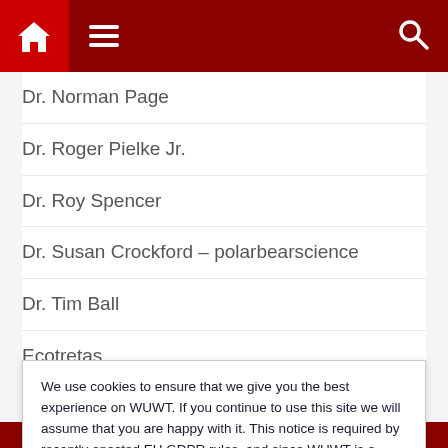Navigation bar with home icon, hamburger menu, and search icon
Dr. Norman Page
Dr. Roger Pielke Jr.
Dr. Roy Spencer
Dr. Susan Crockford – polarbearscience
Dr. Tim Ball
Ecotretas
Environment & Climate News
EU Referendum – Richard North
We use cookies to ensure that we give you the best experience on WUWT. If you continue to use this site we will assume that you are happy with it. This notice is required by recently enacted EU GDPR rules, and since WUWT is a globally read website, we need to keep the bureaucrats off our case! Cookie Policy
Close and accept